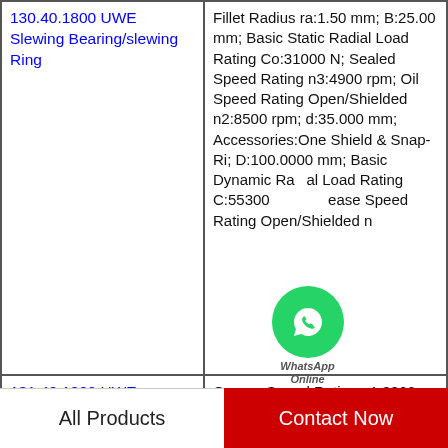| Product | Specifications |
| --- | --- |
| 130.40.1800 UWE Slewing Bearing/slewing Ring | Fillet Radius ra:1.50 mm; B:25.00 mm; Basic Static Radial Load Rating Co:31000 N; Sealed Speed Rating n3:4900 rpm; Oil Speed Rating Open/Shielded n2:8500 rpm; d:35.000 mm; Accessories:One Shield & Snap-Ri; D:100.0000 mm; Basic Dynamic Radial Load Rating C:55300 [Grease Speed Rating Open/Shielded n... |
| 131.40.1800 UWE Slewing Bearing/slewing Ring | Grease Speed Rating n1:3800 rpm; Sealed Speed Rating n3:3800 rpm; Fillet Radius ra:1.50 mm; Basic Dynamic Radial Load Rating C:70200 N; D:110.0000 mm; B:36.50 mm; Oil Speed Rating n2:5000 rpm; Basic Static Radial Load Rating... |
All Products    Contact Now